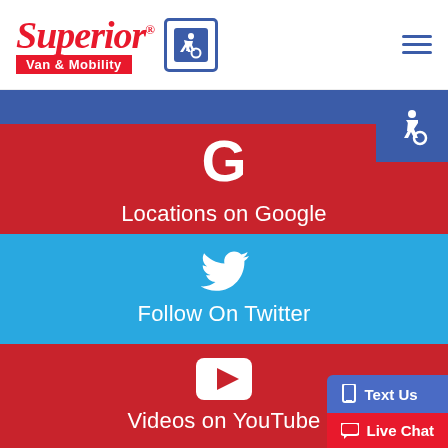[Figure (logo): Superior Van & Mobility logo with red italic text, red tagline bar, and blue/white wheelchair accessibility icon badge]
[Figure (infographic): Navigation strip with blue background and wheelchair accessibility icon in top-right corner]
[Figure (infographic): Red section with large white Google G icon and text 'Locations on Google']
[Figure (infographic): Blue section with large white Twitter bird icon and text 'Follow On Twitter']
[Figure (infographic): Red section with white YouTube play button icon, text 'Videos on YouTube', and floating 'Text Us' and 'Live Chat' buttons in bottom-right]